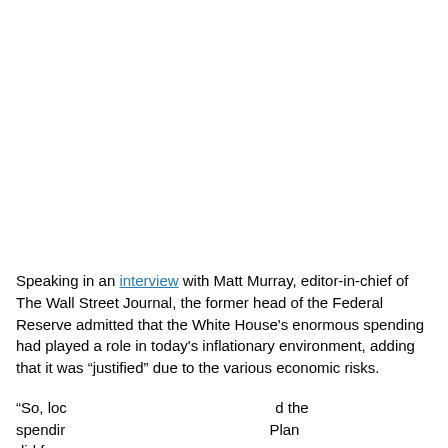Speaking in an interview with Matt Murray, editor-in-chief of The Wall Street Journal, the former head of the Federal Reserve admitted that the White House's enormous spending had played a role in today's inflationary environment, adding that it was “justified” due to the various economic risks.
“So, loc…d the spendir…Plan did foo…